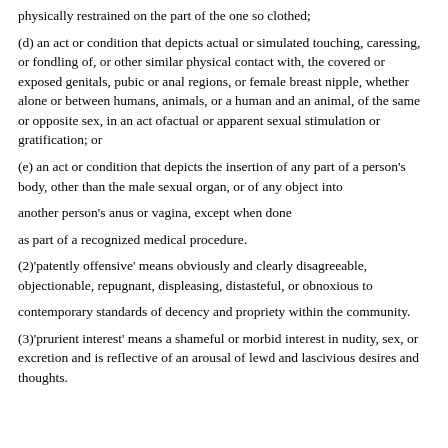physically restrained on the part of the one so clothed;
(d) an act or condition that depicts actual or simulated touching, caressing, or fondling of, or other similar physical contact with, the covered or exposed genitals, pubic or anal regions, or female breast nipple, whether alone or between humans, animals, or a human and an animal, of the same or opposite sex, in an act ofactual or apparent sexual stimulation or gratification; or
(e) an act or condition that depicts the insertion of any part of a person's body, other than the male sexual organ, or of any object into
another person's anus or vagina, except when done
as part of a recognized medical procedure.
(2)'patently offensive' means obviously and clearly disagreeable, objectionable, repugnant, displeasing, distasteful, or obnoxious to
contemporary standards of decency and propriety within the community.
(3)'prurient interest' means a shameful or morbid interest in nudity, sex, or excretion and is reflective of an arousal of lewd and lascivious desires and thoughts.